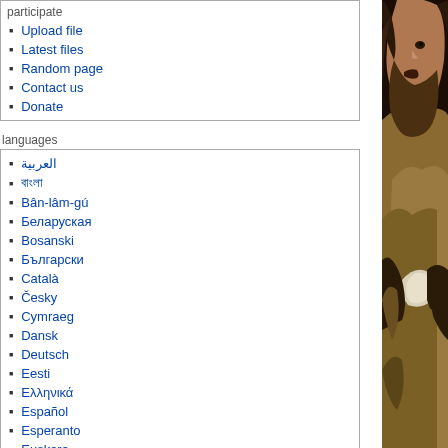Upload file
Latest files
Random page
Contact us
Donate
languages
العربية
বাংলা
Bân-lâm-gú
Беларуская
Bosanski
Български
Català
Česky
Cymraeg
Dansk
Deutsch
Eesti
Ελληνικά
Español
Esperanto
Euskara
فارسی
Français
[Figure (photo): A dark oil painting of a man with a beard looking upward, wearing robes, in Baroque style]